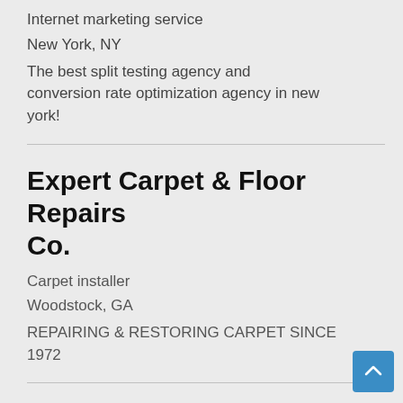Internet marketing service
New York, NY
The best split testing agency and conversion rate optimization agency in new york!
Expert Carpet & Floor Repairs Co.
Carpet installer
Woodstock, GA
REPAIRING & RESTORING CARPET SINCE 1972
Rigid Exteriors, LLC.